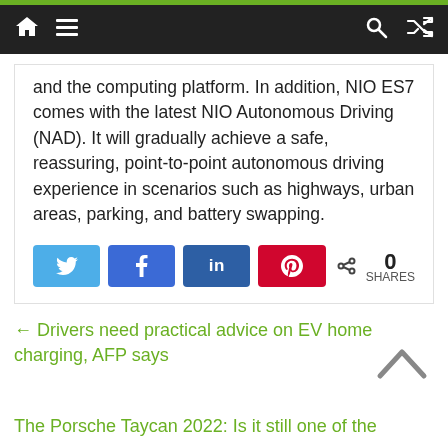Navigation bar with home, menu, search, and shuffle icons
and the computing platform. In addition, NIO ES7 comes with the latest NIO Autonomous Driving (NAD). It will gradually achieve a safe, reassuring, point-to-point autonomous driving experience in scenarios such as highways, urban areas, parking, and battery swapping.
[Figure (infographic): Social share buttons: Twitter (light blue), Facebook (blue), LinkedIn (dark blue), Pinterest (red), and a share count showing 0 SHARES]
← Drivers need practical advice on EV home charging, AFP says
The Porsche Taycan 2022: Is it still one of the